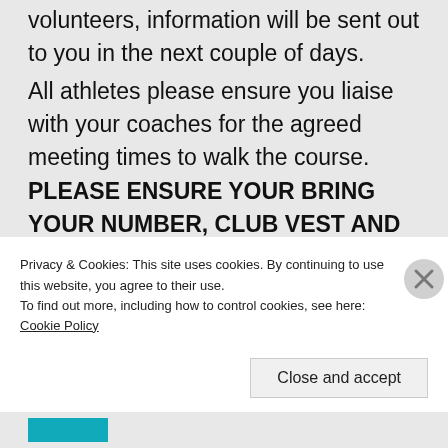volunteers, information will be sent out to you in the next couple of days.

All athletes please ensure you liaise with your coaches for the agreed meeting times to walk the course. PLEASE ENSURE YOUR BRING YOUR NUMBER, CLUB VEST AND PINS. Race times are given along with details of the course on the map below. Please note the site is currently very
Privacy & Cookies: This site uses cookies. By continuing to use this website, you agree to their use.
To find out more, including how to control cookies, see here: Cookie Policy
Close and accept